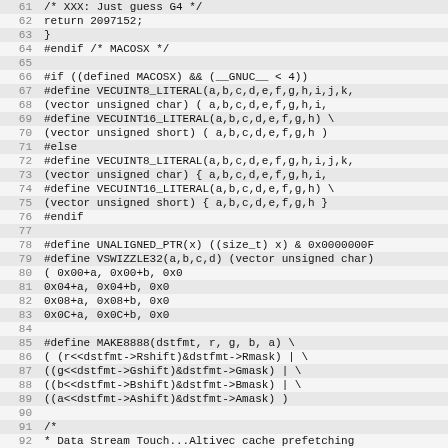[Figure (screenshot): Source code listing in monospace font showing C preprocessor macros and definitions, line numbers 61-92, with alternating highlighted rows for even-numbered lines.]